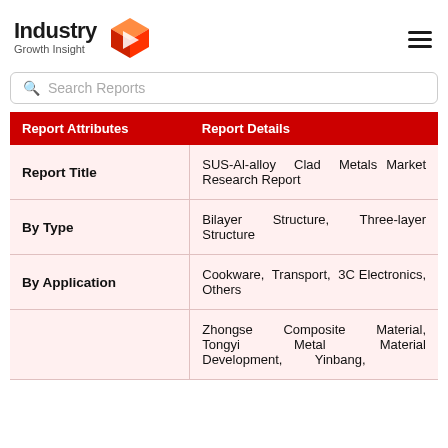Industry Growth Insight
| Report Attributes | Report Details |
| --- | --- |
| Report Title | SUS-Al-alloy Clad Metals Market Research Report |
| By Type | Bilayer Structure, Three-layer Structure |
| By Application | Cookware, Transport, 3C Electronics, Others |
|  | Zhongse Composite Material, Tongyi Metal Material Development, Yinbang, |